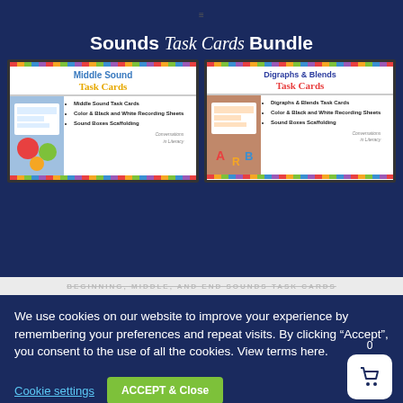[Figure (illustration): Sounds Task Cards Bundle product image showing two sub-products: Middle Sound Task Cards and Digraphs & Blends Task Cards on a dark navy background]
BEGINNING, MIDDLE, AND END SOUNDS TASK CARDS
We use cookies on our website to improve your experience by remembering your preferences and repeat visits. By clicking “Accept”, you consent to the use of all the cookies. View terms here.
Cookie settings
ACCEPT & Close